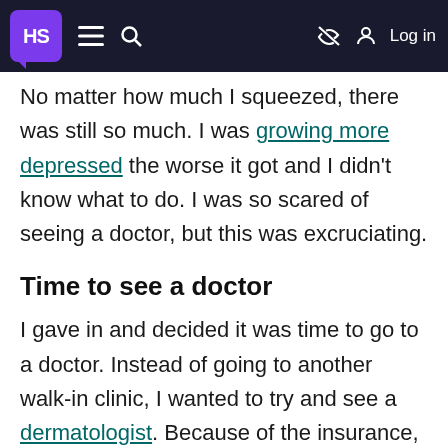HS [logo] | menu | search | [eye-off icon] | Log in
No matter how much I squeezed, there was still so much. I was growing more depressed the worse it got and I didn't know what to do. I was so scared of seeing a doctor, but this was excruciating.
Time to see a doctor
I gave in and decided it was time to go to a doctor. Instead of going to another walk-in clinic, I wanted to try and see a dermatologist. Because of the insurance, I was under, I had to first get a referral from a primary care physician. I didn't have a PCP